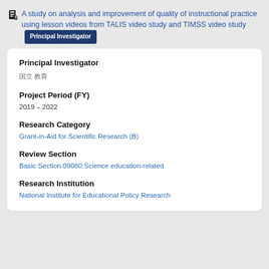A study on analysis and improvement of quality of instructional practice using lesson videos from TALIS video study and TIMSS video study
Principal Investigator
국립 교육
Project Period (FY)
2019 – 2022
Research Category
Grant-in-Aid for Scientific Research (B)
Review Section
Basic Section 09080:Science education-related
Research Institution
National Institute for Educational Policy Research